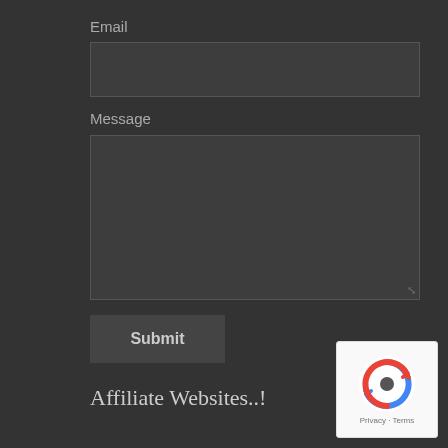Email
[Figure (screenshot): Empty email input text field with dark background]
Message
[Figure (screenshot): Empty message textarea with dark background and resize handle]
Submit
Affiliate Websites..!
[Figure (other): reCAPTCHA widget showing the recycling-arrow logo with Privacy and Terms links below]